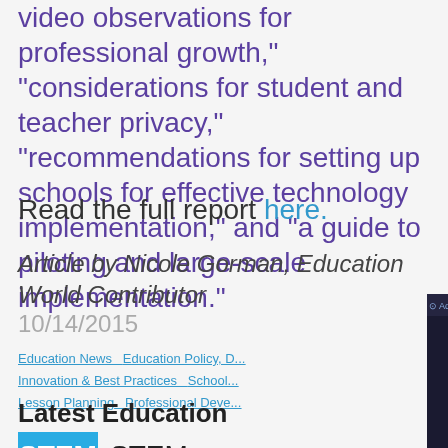video observations for professional growth," "considerations for student and teacher privacy," "recommendations for setting up schools for effective technology implementation," and "a guide to piloting and large-scale implementation."
Read the full report here.
Article by Nicole Gorman, Education World Contributor
10/14/2015
Education News   Education Policy, D...   Innovation & Best Practices   School...   Lesson Planning   Professional Deve...
Latest Education
[Figure (screenshot): AdMetricsPro video ad overlay with play button controls and S&S Worldwide Online Learning text]
STEM